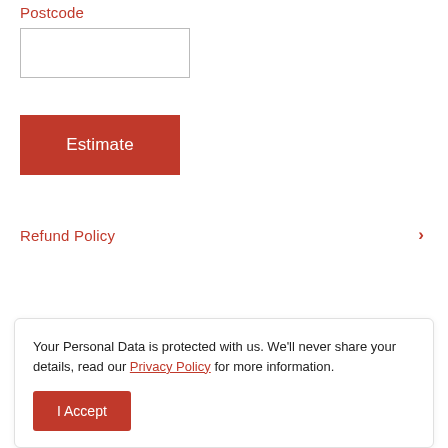Postcode
Estimate
Refund Policy
You may also like
Your Personal Data is protected with us. We'll never share your details, read our Privacy Policy for more information.
I Accept